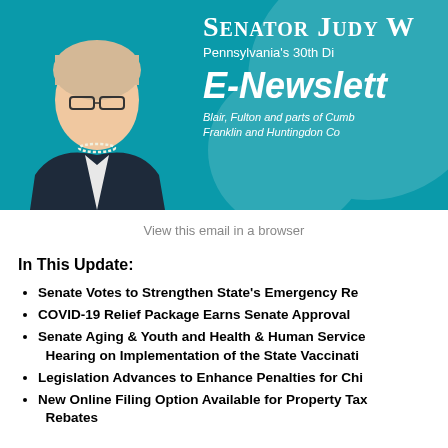[Figure (photo): Banner header with teal background showing Senator Judy Ward's photo on the left and her name, title, E-Newsletter heading, and county coverage on the right]
View this email in a browser
In This Update:
Senate Votes to Strengthen State's Emergency Re...
COVID-19 Relief Package Earns Senate Approval
Senate Aging & Youth and Health & Human Services... Hearing on Implementation of the State Vaccinati...
Legislation Advances to Enhance Penalties for Chi...
New Online Filing Option Available for Property Tax... Rebates